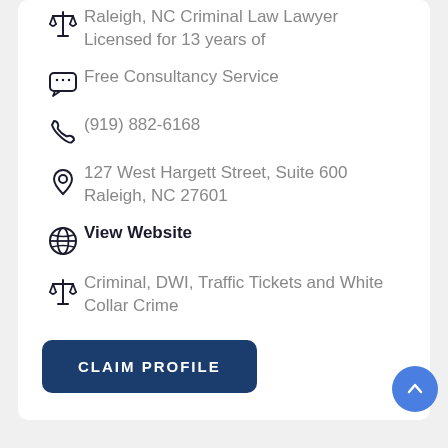Raleigh, NC Criminal Law Lawyer Licensed for 13 years of
Free Consultancy Service
(919) 882-6168
127 West Hargett Street, Suite 600 Raleigh, NC 27601
View Website
Criminal, DWI, Traffic Tickets and White Collar Crime
CLAIM PROFILE